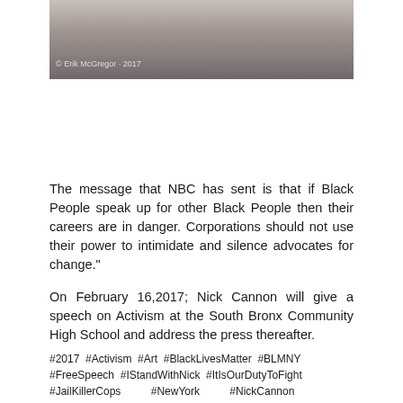[Figure (photo): Partial photo showing people's legs and feet, with a copyright caption '© Erik McGregor · 2017']
© Erik McGregor · 2017
The message that NBC has sent is that if Black People speak up for other Black People then their careers are in danger. Corporations should not use their power to intimidate and silence advocates for change."
On February 16,2017; Nick Cannon will give a speech on Activism at the South Bronx Community High School and address the press thereafter.
#2017  #Activism  #Art  #BlackLivesMatter  #BLMNY #FreeSpeech  #IStandWithNick  #ItIsOurDutyToFight #JailKillerCops          #NewYork          #NickCannon #NoJusticeNoPeace  #NoRacistPolice  #NYC  #NYPD #PoliceBrutality                    #PowerToThePeople #ProsecuteNYPD    #racism    #SafetyBeyondPolicing